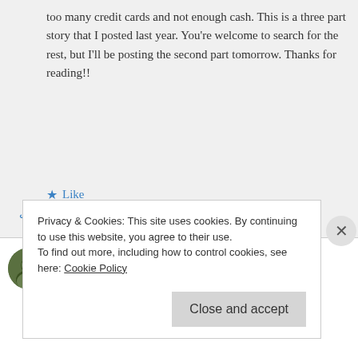too many credit cards and not enough cash. This is a three part story that I posted last year. You're welcome to search for the rest, but I'll be posting the second part tomorrow. Thanks for reading!!
★ Like
↳ Reply
thoughtfulstroll on February 10, 2015 at 10:31 pm
Privacy & Cookies: This site uses cookies. By continuing to use this website, you agree to their use. To find out more, including how to control cookies, see here: Cookie Policy
Close and accept